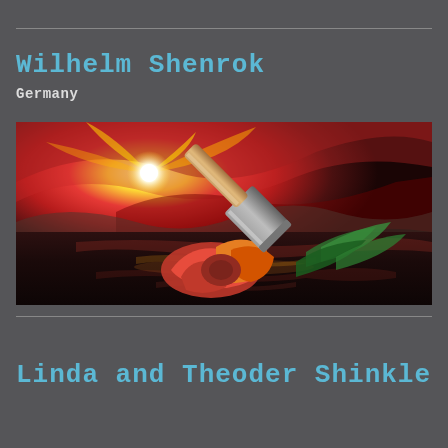Wilhelm Shenrok
Germany
[Figure (illustration): Surrealist painting of a rose lying on a dark reflective surface near water, with an axe or hammer resting on the rose petals. The sky features a dramatic sunset with vivid red, orange, and yellow hues radiating from a bright white sun. The rose is orange-red with green leaves. The overall mood is dramatic and symbolic.]
Linda and Theoder Shinkle